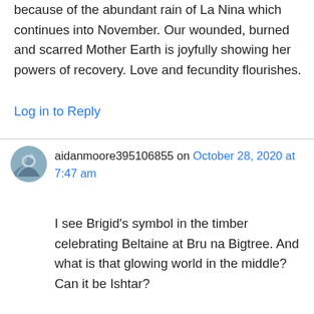because of the abundant rain of La Nina which continues into November. Our wounded, burned and scarred Mother Earth is joyfully showing her powers of recovery. Love and fecundity flourishes.
Log in to Reply
aidanmoore395106855 on October 28, 2020 at 7:47 am
I see Brigid's symbol in the timber celebrating Beltaine at Bru na Bigtree. And what is that glowing world in the middle? Can it be Ishtar?

On Sat, Oct 24, 2020 at 7:13 PM PaGaian Cosmology wrote: